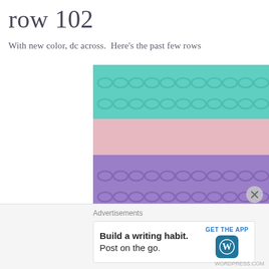row 102
With new color, dc across.  Here's the past few rows
[Figure (photo): Close-up photograph of crochet rows in multiple colors: teal/mint green at top, pink/light mauve in middle, purple/lavender below, and a hint of sage green at the bottom edge.]
Advertisements
Build a writing habit.
Post on the go.
GET THE APP